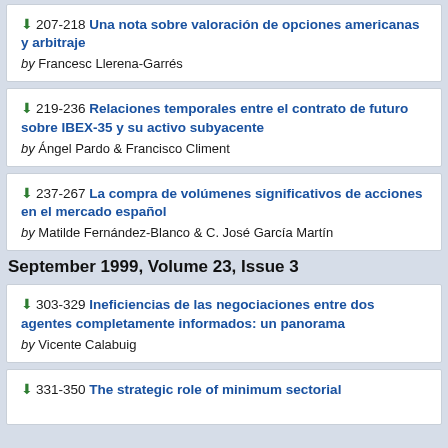207-218 Una nota sobre valoración de opciones americanas y arbitraje by Francesc Llerena-Garrés
219-236 Relaciones temporales entre el contrato de futuro sobre IBEX-35 y su activo subyacente by Ángel Pardo & Francisco Climent
237-267 La compra de volúmenes significativos de acciones en el mercado español by Matilde Fernández-Blanco & C. José García Martín
September 1999, Volume 23, Issue 3
303-329 Ineficiencias de las negociaciones entre dos agentes completamente informados: un panorama by Vicente Calabuig
331-350 The strategic role of minimum sectorial...